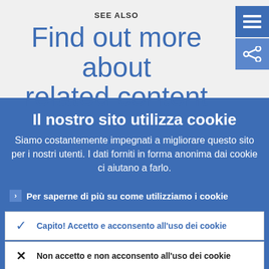SEE ALSO
Find out more about related content
[Figure (screenshot): Two navigation icon buttons: a hamburger menu icon and a share icon, both on blue square backgrounds in the top right corner]
Il nostro sito utilizza cookie
Siamo costantemente impegnati a migliorare questo sito per i nostri utenti. I dati forniti in forma anonima dai cookie ci aiutano a farlo.
› Per saperne di più su come utilizziamo i cookie
✓ Capito! Accetto e acconsento all'uso dei cookie
✗ Non accetto e non acconsento all'uso dei cookie